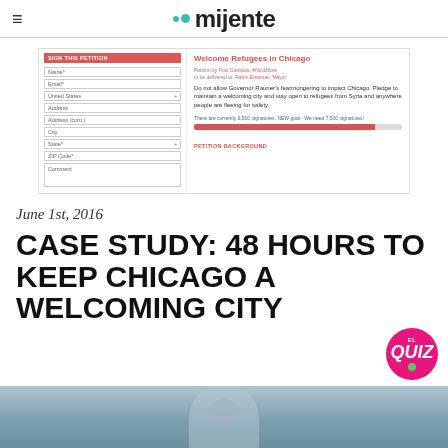mijente
[Figure (screenshot): Screenshot of a Change.org petition page titled 'Welcome Refugees in Chicago' with a sign petition form on the left (fields for Name, Email, United States, Address, Address cont., City, State, ZIP Code, Comment) and petition text on the right reading 'Do not allow Governor Rauner's fearmongering to impact Chicago. Pledge to maintain a welcoming city and stay open to refugees from Syria and anywhere people are fleeing for safety.' Progress bar showing 6,510 signatures, NEW goal 7,500.]
June 1st, 2016
CASE STUDY: 48 HOURS TO KEEP CHICAGO A WELCOMING CITY
[Figure (photo): Partial photo showing a person, cropped at bottom of page]